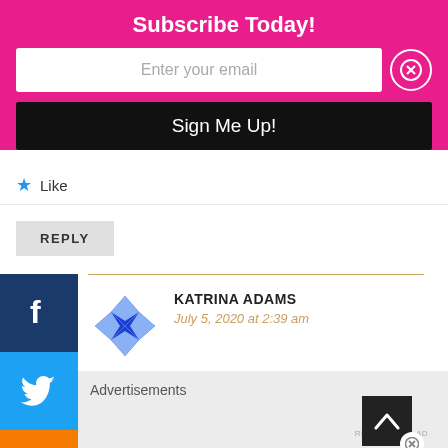Subscribe Today!
Enter your email
Sign Me Up!
Like
REPLY
KATRINA ADAMS
July 5, 2020 at 2:39 am
Advertisements
REPORT THIS AD